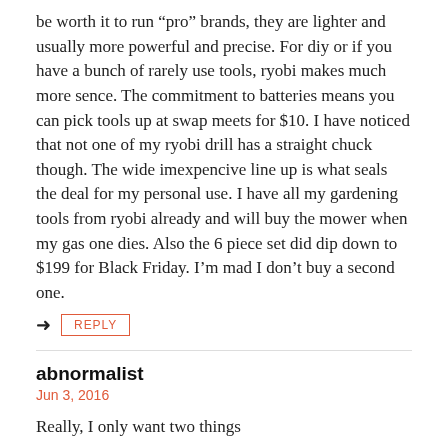be worth it to run “pro” brands, they are lighter and usually more powerful and precise. For diy or if you have a bunch of rarely use tools, ryobi makes much more sence. The commitment to batteries means you can pick tools up at swap meets for $10. I have noticed that not one of my ryobi drill has a straight chuck though. The wide imexpencive line up is what seals the deal for my personal use. I have all my gardening tools from ryobi already and will buy the mower when my gas one dies. Also the 6 piece set did dip down to $199 for Black Friday. I’m mad I don’t buy a second one.
REPLY
abnormalist
Jun 3, 2016
Really, I only want two things
1. better recip saw